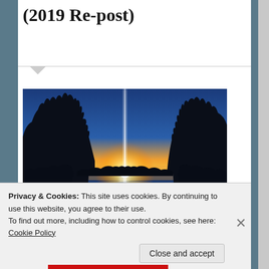(2019 Re-post)
[Figure (photo): Sunset over a lake with silhouetted trees on left and right, sun setting on the horizon with a bright vertical light beam reflected on the water surface.]
Privacy & Cookies: This site uses cookies. By continuing to use this website, you agree to their use.
To find out more, including how to control cookies, see here: Cookie Policy
Close and accept